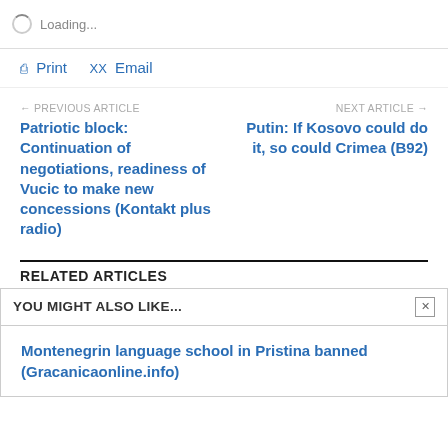Loading...
Print  Email
← PREVIOUS ARTICLE
Patriotic block: Continuation of negotiations, readiness of Vucic to make new concessions (Kontakt plus radio)
NEXT ARTICLE →
Putin: If Kosovo could do it, so could Crimea (B92)
RELATED ARTICLES
YOU MIGHT ALSO LIKE...
Montenegrin language school in Pristina banned (Gracanicaonline.info)